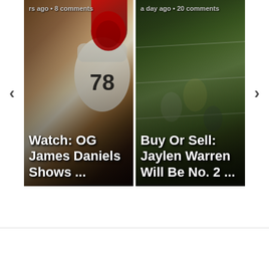[Figure (screenshot): Sports news carousel showing two article cards. Left card: 'Watch: OG James Daniels Shows ...' with timestamp showing hours ago and 8 comments, showing a Steelers player #78. Right card: 'Buy Or Sell: Jaylen Warren Will Be No. 2 ...' with timestamp 'a day ago' and 20 comments, showing a football game play on green field. Navigation arrows on left and right sides.]
rs ago • 8 comments
Watch: OG James Daniels Shows ...
a day ago • 20 comments
Buy Or Sell: Jaylen Warren Will Be No. 2 ...